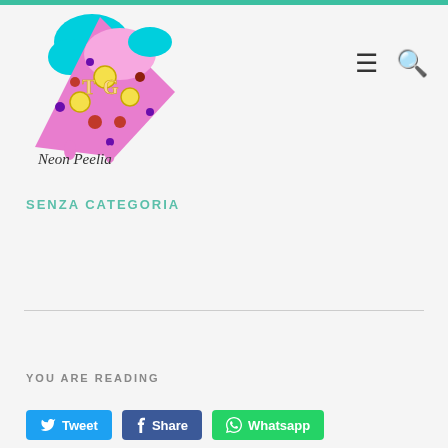[Figure (logo): Neon Peelia logo: a colorful cartoon pizza slice with toppings in bright pink, cyan, yellow and purple colors, with the text 'Neon Peelia' written below in handwritten style font]
SENZA CATEGORIA
YOU ARE READING
[Figure (infographic): Social sharing buttons: Tweet (Twitter/blue), Share (Facebook/dark blue), Whatsapp (green)]